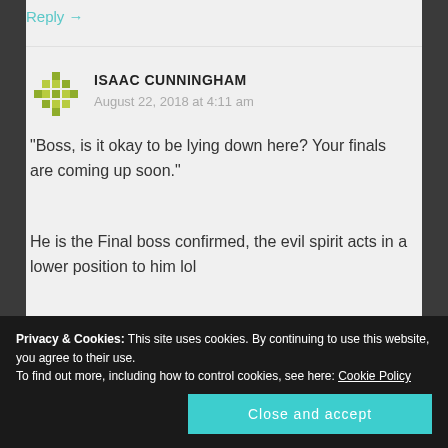Reply →
ISAAC CUNNINGHAM
August 22, 2018 at 4:11 am
“Boss, is it okay to be lying down here? Your finals are coming up soon.”
He is the Final boss confirmed, the evil spirit acts in a lower position to him lol
but still i would like having a chill spirit on my back like
Privacy & Cookies: This site uses cookies. By continuing to use this website, you agree to their use. To find out more, including how to control cookies, see here: Cookie Policy
Close and accept